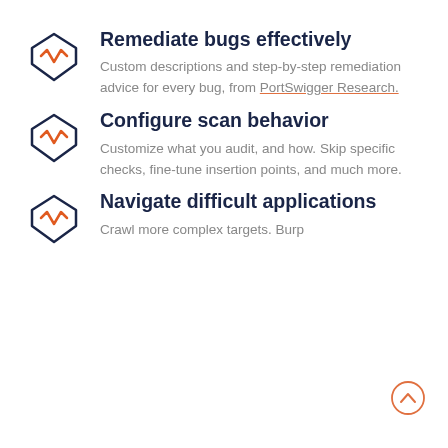Remediate bugs effectively
Custom descriptions and step-by-step remediation advice for every bug, from PortSwigger Research.
Configure scan behavior
Customize what you audit, and how. Skip specific checks, fine-tune insertion points, and much more.
Navigate difficult applications
Crawl more complex targets. Burp